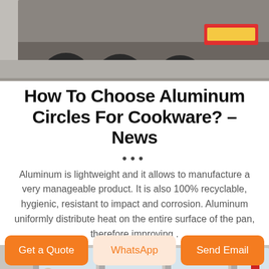[Figure (photo): Rear view of a large truck/trailer on a road, showing wheels and red license plate area]
How To Choose Aluminum Circles For Cookware? – News
•••
Aluminum is lightweight and it allows to manufacture a very manageable product. It is also 100% recyclable, hygienic, resistant to impact and corrosion. Aluminum uniformly distribute heat on the entire surface of the pan, therefore improving .
[Figure (photo): Interior of an industrial warehouse or factory with large windows, concrete columns, and equipment]
Get a Quote | WhatsApp | Send Email